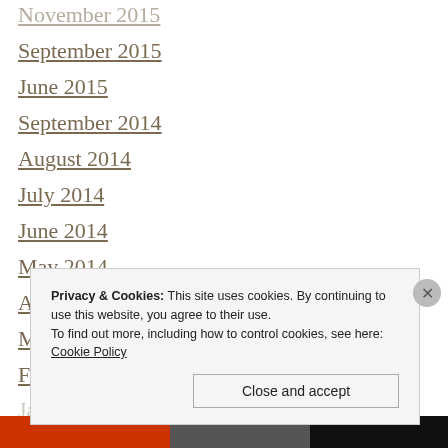November 2015
September 2015
June 2015
September 2014
August 2014
July 2014
June 2014
May 2014
April 2014
March 2014
February 2014
January 2014
Privacy & Cookies: This site uses cookies. By continuing to use this website, you agree to their use.
To find out more, including how to control cookies, see here: Cookie Policy
[Figure (other): Bottom navigation bar with red, grey and dark sections]